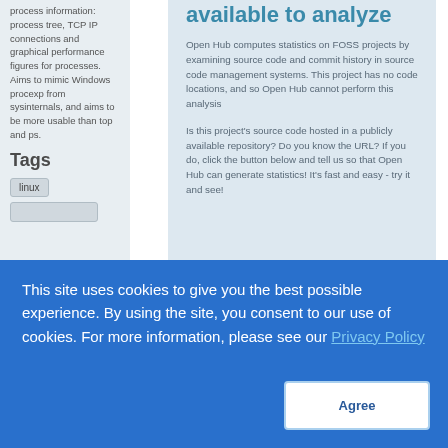process information: process tree, TCP IP connections and graphical performance figures for processes. Aims to mimic Windows procexp from sysinternals, and aims to be more usable than top and ps.
Tags
linux
available to analyze
Open Hub computes statistics on FOSS projects by examining source code and commit history in source code management systems. This project has no code locations, and so Open Hub cannot perform this analysis
Is this project's source code hosted in a publicly available repository? Do you know the URL? If you do, click the button below and tell us so that Open Hub can generate statistics! It's fast and easy - try it and see!
This site uses cookies to give you the best possible experience. By using the site, you consent to our use of cookies. For more information, please see our Privacy Policy
Agree